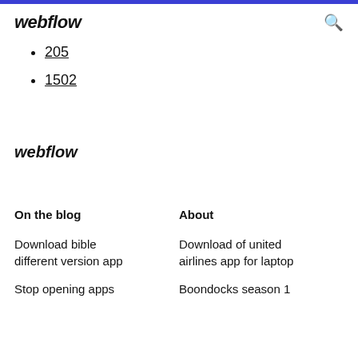webflow
205
1502
webflow
On the blog
About
Download bible different version app
Download of united airlines app for laptop
Stop opening apps
Boondocks season 1